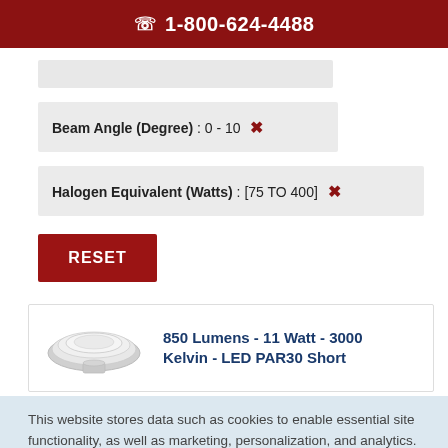📞 1-800-624-4488
Beam Angle (Degree) : 0 - 10 ✕
Halogen Equivalent (Watts) : [75 TO 400] ✕
RESET
[Figure (photo): LED PAR30 Short bulb product image showing a round flat-faced reflector lamp]
850 Lumens - 11 Watt - 3000 Kelvin - LED PAR30 Short
This website stores data such as cookies to enable essential site functionality, as well as marketing, personalization, and analytics. By remaining on this website you indicate your consent. Privacy Policy